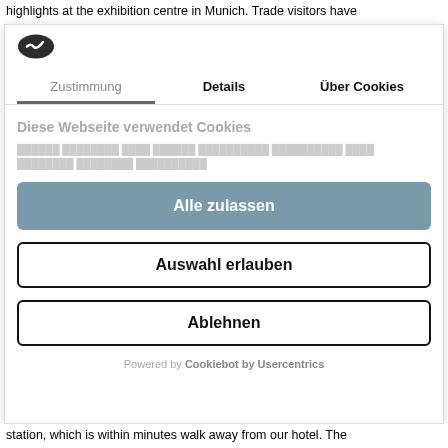highlights at the exhibition centre in Munich. Trade visitors have
[Figure (logo): Cookiebot logo - dark oval shape with checkmark]
Zustimmung   Details   Über Cookies
Diese Webseite verwendet Cookies
[blurred/redacted description text]
Alle zulassen
Auswahl erlauben
Ablehnen
Powered by Cookiebot by Usercentrics
station, which is within minutes walk away from our hotel. The